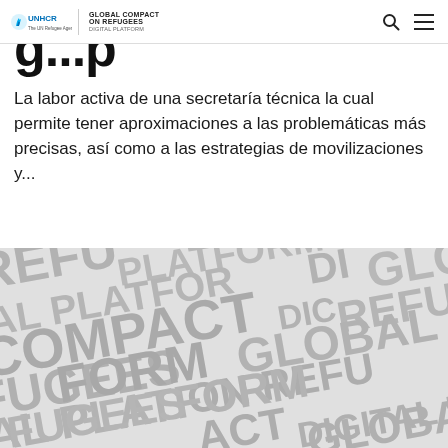UNHCR | GLOBAL COMPACT ON REFUGEES DIGITAL PLATFORM
g...p...
La labor activa de una secretaría técnica la cual permite tener aproximaciones a las problemáticas más precisas, así como a las estrategias de movilizaciones y...
[Figure (illustration): Background watermark pattern with repeated text: REFUGEES, GLOBAL, COMPACT, DIGITAL PLATFORM, ON, in large bold grey letters on a light grey background.]